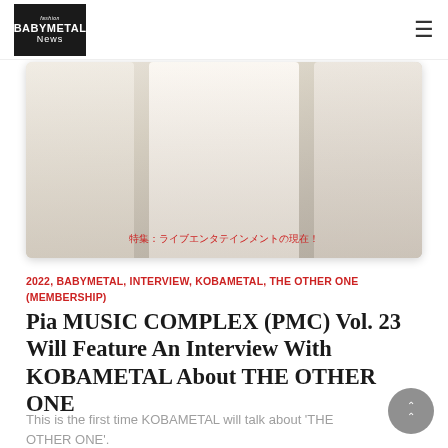BABYMETAL News
[Figure (photo): Three people dressed in white/cream outfits posing together. Japanese text overlay at bottom reads: 特集：ライブエンタテインメントの現在！]
2022, BABYMETAL, INTERVIEW, KOBAMETAL, THE OTHER ONE (MEMBERSHIP)
Pia MUSIC COMPLEX (PMC) Vol. 23 Will Feature An Interview With KOBAMETAL About THE OTHER ONE
This is the first time KOBAMETAL will talk about 'THE OTHER ONE'.